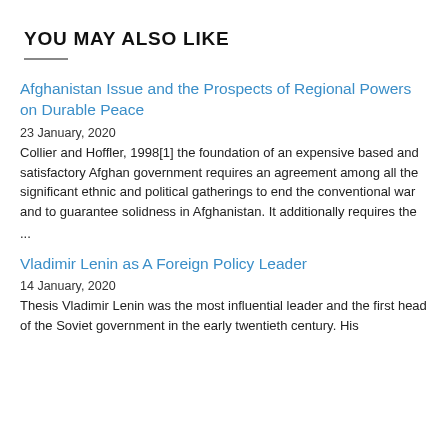YOU MAY ALSO LIKE
Afghanistan Issue and the Prospects of Regional Powers on Durable Peace
23 January, 2020
Collier and Hoffler, 1998[1] the foundation of an expensive based and satisfactory Afghan government requires an agreement among all the significant ethnic and political gatherings to end the conventional war and to guarantee solidness in Afghanistan. It additionally requires the
...
Vladimir Lenin as A Foreign Policy Leader
14 January, 2020
Thesis Vladimir Lenin was the most influential leader and the first head of the Soviet government in the early twentieth century. His